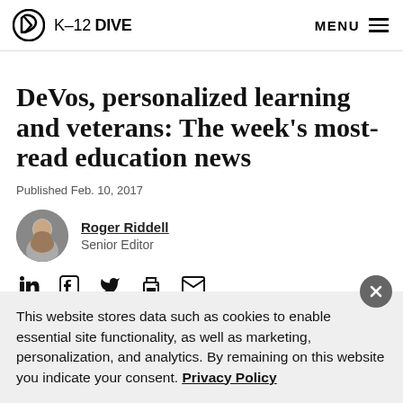K-12 DIVE   MENU
DeVos, personalized learning and veterans: The week's most-read education news
Published Feb. 10, 2017
Roger Riddell
Senior Editor
[Figure (other): Social sharing icons: LinkedIn, Facebook, Twitter, Print, Email]
This website stores data such as cookies to enable essential site functionality, as well as marketing, personalization, and analytics. By remaining on this website you indicate your consent. Privacy Policy